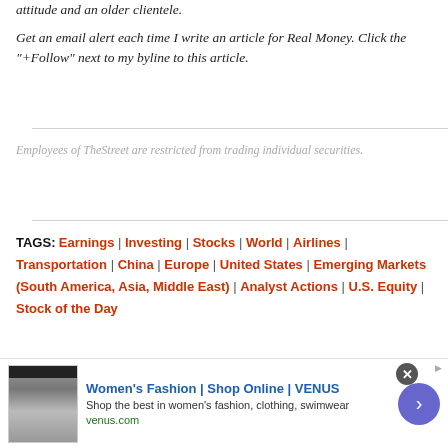attitude and an older clientele.
Get an email alert each time I write an article for Real Money. Click the "+Follow" next to my byline to this article.
Employees of TheStreet are restricted from trading individual securities.
TAGS: Earnings | Investing | Stocks | World | Airlines | Transportation | China | Europe | United States | Emerging Markets (South America, Asia, Middle East) | Analyst Actions | U.S. Equity | Stock of the Day
[Figure (screenshot): Advertisement banner for Women's Fashion at VENUS (venus.com). Shows thumbnail image, title 'Women's Fashion | Shop Online | VENUS', description 'Shop the best in women's fashion, clothing, swimwear', URL 'venus.com', close button, and forward arrow button.]